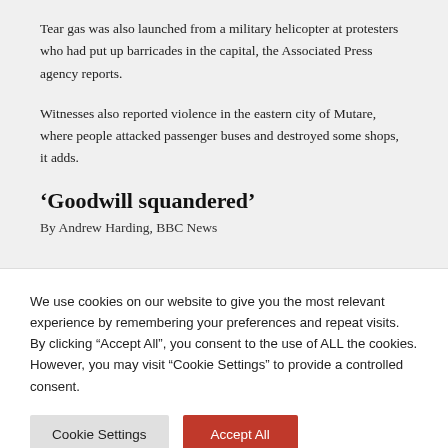Tear gas was also launched from a military helicopter at protesters who had put up barricades in the capital, the Associated Press agency reports.
Witnesses also reported violence in the eastern city of Mutare, where people attacked passenger buses and destroyed some shops, it adds.
‘Goodwill squandered’
By Andrew Harding, BBC News
We use cookies on our website to give you the most relevant experience by remembering your preferences and repeat visits. By clicking “Accept All”, you consent to the use of ALL the cookies. However, you may visit "Cookie Settings" to provide a controlled consent.